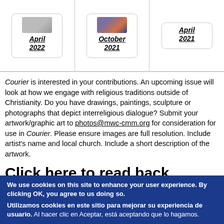[Figure (other): Three magazine issue cards showing April 2022, October 2021, and April 2021 with thumbnail photos]
Courier is interested in your contributions. An upcoming issue will look at how we engage with religious traditions outside of Christianity. Do you have drawings, paintings, sculpture or photographs that depict interreligious dialogue? Submit your artwork/graphic art to photos@mwc-cmm.org for consideration for use in Courier. Please ensure images are full resolution. Include artist's name and local church. Include a short description of the artwork.
Click here to read back issues
We use cookies on this site to enhance your user experience. By clicking OK, you agree to us doing so. Utilizamos cookies en este sitio para mejorar su experiencia de usuario. Al hacer clic en Aceptar, está aceptando que lo hagamos.